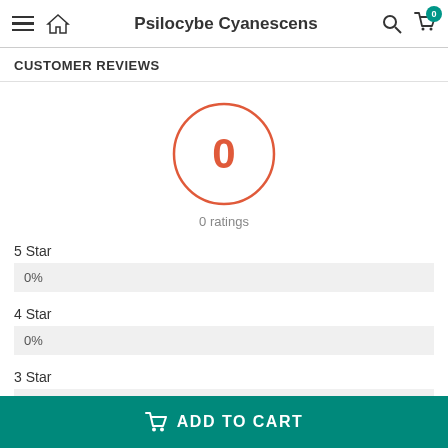Psilocybe Cyanescens
CUSTOMER REVIEWS
[Figure (infographic): A circular rating display showing 0 in the center with an orange-red border circle, and '0 ratings' label below]
5 Star
0%
4 Star
0%
3 Star
0%
ADD TO CART